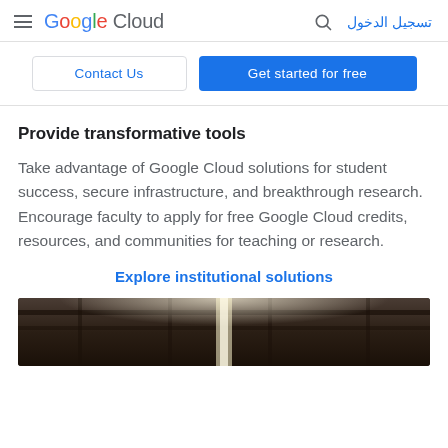Google Cloud — تسجيل الدخول
Contact Us | Get started for free
Provide transformative tools
Take advantage of Google Cloud solutions for student success, secure infrastructure, and breakthrough research. Encourage faculty to apply for free Google Cloud credits, resources, and communities for teaching or research.
Explore institutional solutions
[Figure (photo): Interior ceiling of a building with exposed beams and a bright overhead light fixture]